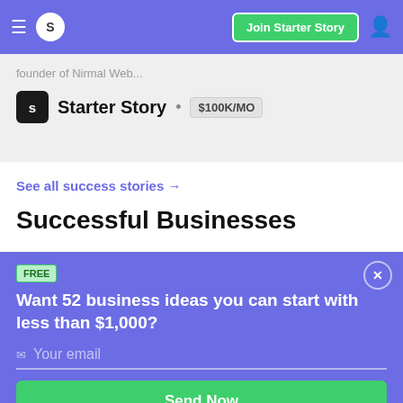S  Join Starter Story
founder of Nirmal Web...
Starter Story • $100K/MO
See all success stories →
Successful Businesses
FREE
Want 52 business ideas you can start with less than $1,000?
Your email
Send Now